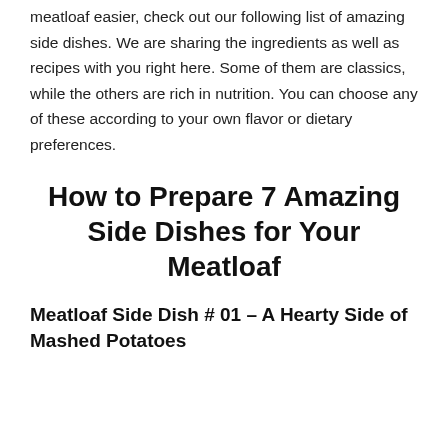meatloaf easier, check out our following list of amazing side dishes. We are sharing the ingredients as well as recipes with you right here. Some of them are classics, while the others are rich in nutrition. You can choose any of these according to your own flavor or dietary preferences.
How to Prepare 7 Amazing Side Dishes for Your Meatloaf
Meatloaf Side Dish # 01 – A Hearty Side of Mashed Potatoes